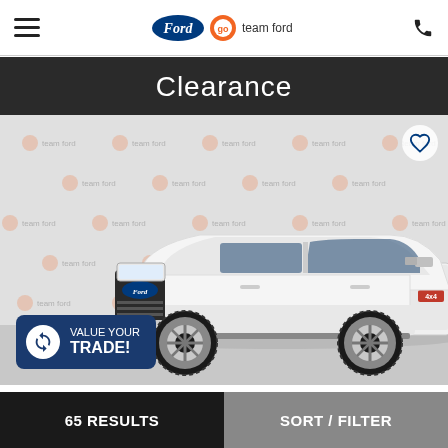Ford / Go Team Ford — navigation header with hamburger menu and phone icon
Clearance
[Figure (photo): White Ford F-150 pickup truck photographed in front of a 'go team ford' branded backdrop. A 'VALUE YOUR TRADE!' button overlay appears at the lower left, and a heart/wishlist icon appears at the upper right.]
65 RESULTS | SORT / FILTER